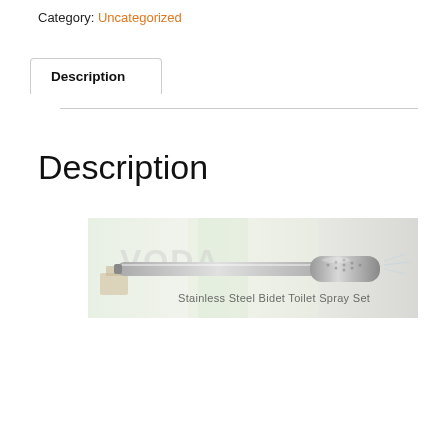Category: Uncategorized
Description
Description
[Figure (photo): Stainless Steel Bidet Toilet Spray Set product image with logo watermark and product label text overlay]